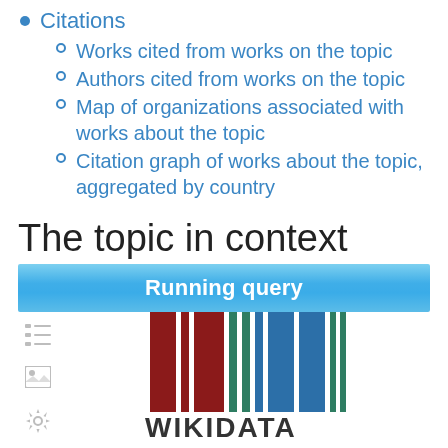Citations
Works cited from works on the topic
Authors cited from works on the topic
Map of organizations associated with works about the topic
Citation graph of works about the topic, aggregated by country
The topic in context
Running query
[Figure (logo): Wikidata logo barcode with colored vertical bars (dark red, green, blue) above the WIKIDATA text, with navigation icons on the left side]